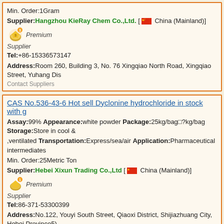Min. Order:1Gram
Supplier:Hangzhou KieRay Chem Co.,Ltd. [ China (Mainland)]
Premium Supplier
Tel:+86-15336573147
Address:Room 260, Building 3, No. 76 Xingqiao North Road, Xingqiao Street, Yuhang Dis
Contact Suppliers
CAS No.536-43-6 Hot sell Dyclonine hydrochloride in stock with g
Assay:99% Appearance:white powder Package:25kg/bag?kg/bag Storage:Store in cool & ,ventilated Transportation:Express/sea/air Application:Pharmaceutical intermediates
Min. Order:25Metric Ton
Supplier:Hebei Xixun Trading Co.,Ltd [ China (Mainland)]
Premium Supplier
Tel:86-371-53300399
Address:No.122, Youyi South Street, Qiaoxi District, Shijiazhuang City, Hebei Province5)
Contact Suppliers
CAS No.536-43-6 Dyclonine hydrochloride,536-43-6
Assay:98% Package:Packing material and QTY as your request Storage:Keep in a cool & request Application:Pharma;Industry;other application